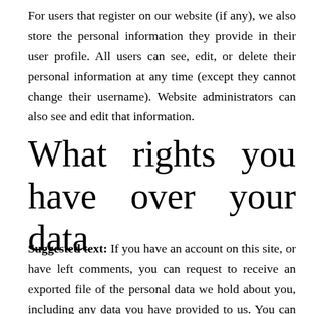For users that register on our website (if any), we also store the personal information they provide in their user profile. All users can see, edit, or delete their personal information at any time (except they cannot change their username). Website administrators can also see and edit that information.
What rights you have over your data
Suggested text: If you have an account on this site, or have left comments, you can request to receive an exported file of the personal data we hold about you, including any data you have provided to us. You can also request that we erase any personal data we hold about you. This does not include any data we are obliged to keep